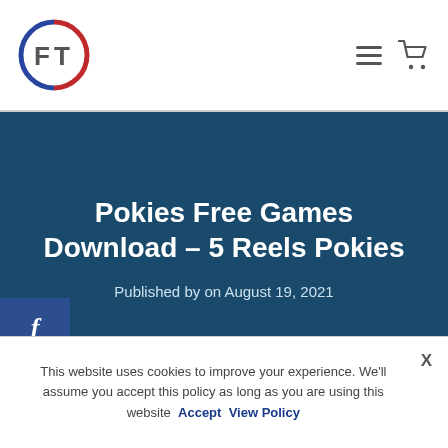[Figure (logo): Circular logo with red and blue border and 'FT' letters inside]
Pokies Free Games Download – 5 Reels Pokies
Published by on August 19, 2021
Best Online Pokies in Australia 2021
This website uses cookies to improve your experience. We'll assume you accept this policy as long as you are using this website  Accept  View Policy